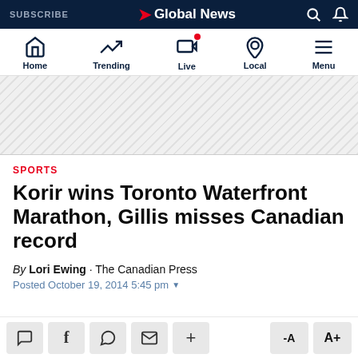SUBSCRIBE | Global News
Home | Trending | Live | Local | Menu
[Figure (other): Advertisement banner area with diagonal stripe pattern]
SPORTS
Korir wins Toronto Waterfront Marathon, Gillis misses Canadian record
By Lori Ewing · The Canadian Press
Posted October 19, 2014 5:45 pm
Share buttons: comment, facebook, whatsapp, email, more | Font resize: -A, A+